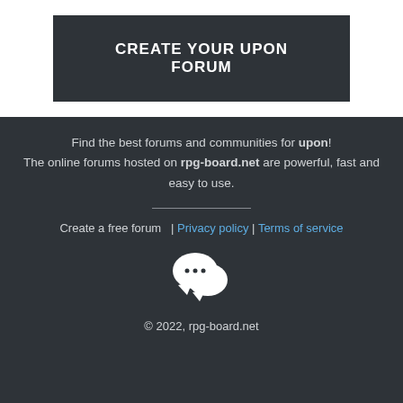CREATE YOUR UPON FORUM
Find the best forums and communities for upon! The online forums hosted on rpg-board.net are powerful, fast and easy to use.
Create a free forum  | Privacy policy | Terms of service
[Figure (illustration): Two overlapping speech/chat bubble icons in white, representing a forum or messaging service.]
© 2022, rpg-board.net